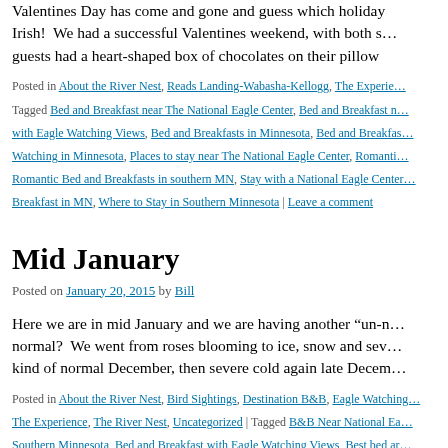Valentines Day has come and gone and guess which holiday is next?  Be Irish!  We had a successful Valentines weekend, with both s… guests had a heart-shaped box of chocolates on their pillow
Posted in About the River Nest, Reads Landing-Wabasha-Kellogg, The Experience… Tagged Bed and Breakfast near The National Eagle Center, Bed and Breakfast with Eagle Watching Views, Bed and Breakfasts in Minnesota, Bed and Breakfasts Eagle Watching in Minnesota, Places to stay near The National Eagle Center, Romantic…, Romantic Bed and Breakfasts in southern MN, Stay with a National Eagle Center… Breakfast in MN, Where to Stay in Southern Minnesota | Leave a comment
Mid January
Posted on January 20, 2015 by Bill
Here we are in mid January and we are having another "un-n… normal?  We went from roses blooming to ice, snow and sev… kind of normal December, then severe cold again late Decem…
Posted in About the River Nest, Bird Sightings, Destination B&B, Eagle Watching…, The Experience, The River Nest, Uncategorized | Tagged B&B Near National Ea… Southern Minnesota, Bed and Breakfast with Eagle Watching Views, Best bed ar… Watching in Minnesota, Eagle Watching in Minnesota, Minnesota Bed and Break…